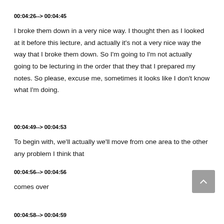00:04:26--> 00:04:45
I broke them down in a very nice way. I thought then as I looked at it before this lecture, and actually it's not a very nice way the way that I broke them down. So I'm going to I'm not actually going to be lecturing in the order that they that I prepared my notes. So please, excuse me, sometimes it looks like I don't know what I'm doing.
00:04:49--> 00:04:53
To begin with, we'll actually we'll move from one area to the other any problem I think that
00:04:56--> 00:04:56
comes over
00:04:58--> 00:04:59